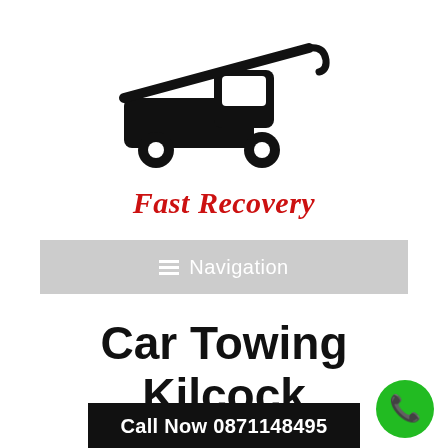[Figure (logo): Black silhouette icon of a tow truck facing right with a hook arm raised]
Fast Recovery
Navigation
Car Towing Kilcock
Call Now 0871148495